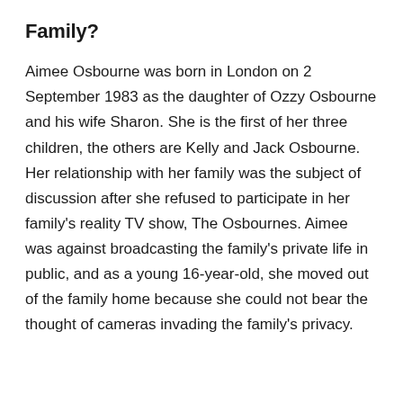Family?
Aimee Osbourne was born in London on 2 September 1983 as the daughter of Ozzy Osbourne and his wife Sharon. She is the first of her three children, the others are Kelly and Jack Osbourne. Her relationship with her family was the subject of discussion after she refused to participate in her family's reality TV show, The Osbournes. Aimee was against broadcasting the family's private life in public, and as a young 16-year-old, she moved out of the family home because she could not bear the thought of cameras invading the family's privacy.